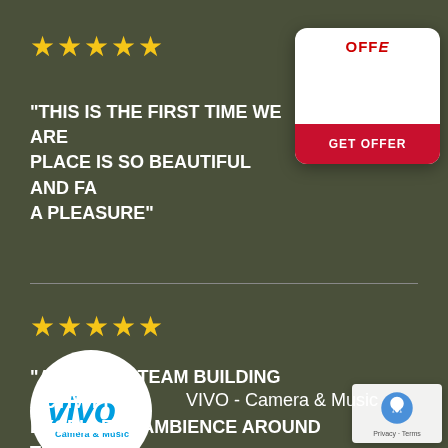★★★★★
"THIS IS THE FIRST TIME WE ARE... PLACE IS SO BEAUTIFUL AND FA... A PLEASURE"
[Figure (logo): VIVO Camera & Music logo in white circle]
VIVO - Camera & Music
[Figure (infographic): Offer card with OFFE label and GET OFFER red button]
★★★★★
"AWESOME TEAM BUILDING ACTIVITY EXCELLENT AMBIENCE AROUND THE HIL..."
[Figure (other): Google reCAPTCHA badge with Privacy and Terms links]